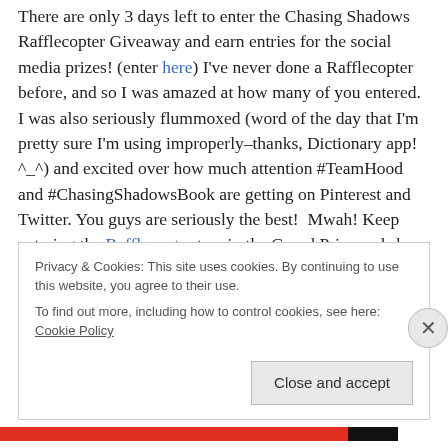There are only 3 days left to enter the Chasing Shadows Rafflecopter Giveaway and earn entries for the social media prizes! (enter here) I've never done a Rafflecopter before, and so I was amazed at how many of you entered. I was also seriously flummoxed (word of the day that I'm pretty sure I'm using improperly–thanks, Dictionary app! ^_^) and excited over how much attention #TeamHood and #ChasingShadowsBook are getting on Pinterest and Twitter. You guys are seriously the best!  Mwah! Keep entering the Rafflecopter to win the Grand Prize and share the link around for your friends to enter, too.
Privacy & Cookies: This site uses cookies. By continuing to use this website, you agree to their use. To find out more, including how to control cookies, see here: Cookie Policy